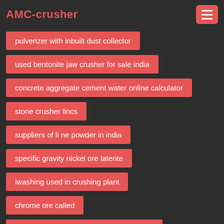AMC-crusher
pulverizer with inbuilt dust collector
used bentonite jaw crusher for sale india
concrete aggregate cement water online calculator
stone crusher lincs
suppliers of li ne powder in india
specific gravity nickel ore laterite
iwashing used in crushing plant
chrome ore called
copper parts rock crusher made in nigeria